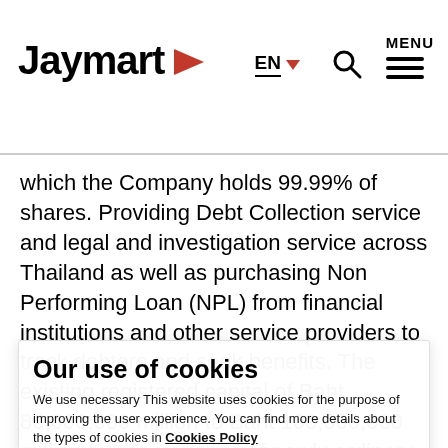Jaymart [logo] | EN | Search | MENU
which the Company holds 99.99% of shares. Providing Debt Collection service and legal and investigation service across Thailand as well as purchasing Non Performing Loan (NPL) from financial institutions and other service providers to track debtors and seek benefits. The existing registered capital of Baht 80,000,000 million to Baht 100,000,000 million by the issuance of newly ordinary shares of 200,000 shares at the par value of Baht 100 per share with the same rights as the existing the Company. Thus, after the capital increase, the Company will hold shares in JMT Network Services Co., Ltd., in the total of 9,999,998 shares, or 99.99%. The fund from the capital increase will be prepared for future investment and working capital for the business. This transaction is exempt from The Stock Exchange of Thailand's rule of information disclosure
Our use of cookies
We use necessary This website uses cookies for the purpose of improving the user experience. You can find more details about the types of cookies in Cookies Policy
Cookies settings
Accept all